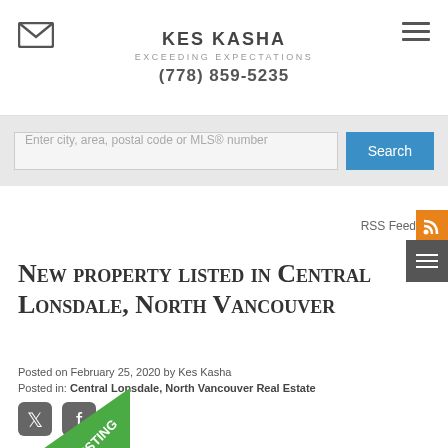KES KASHA
EXCEEDING EXPECTATIONS
(778) 859-5235
Enter city, area, postal code or MLS® number
RSS Feed
New property listed in Central Lonsdale, North Vancouver
Posted on February 25, 2020 by Kes Kasha
Posted in: Central Lonsdale, North Vancouver Real Estate